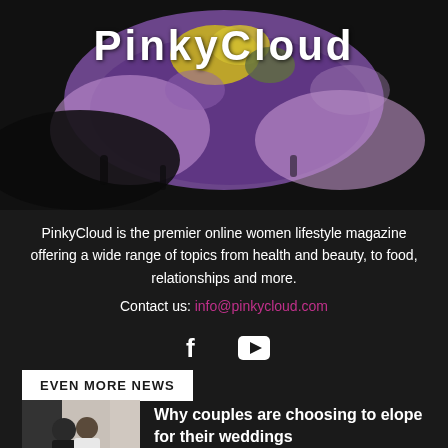[Figure (illustration): Abstract floral/paint splash background image with purple, yellow and green hues against dark background, with PinkyCloud logo overlaid]
PinkyCloud
PinkyCloud is the premier online women lifestyle magazine offering a wide range of topics from health and beauty, to food, relationships and more.
Contact us: info@pinkycloud.com
[Figure (infographic): Social media icons: Facebook (f) and YouTube (play button) in white]
EVEN MORE NEWS
[Figure (photo): Black and white photo of a couple embracing, bride holding bouquet]
Why couples are choosing to elope for their weddings